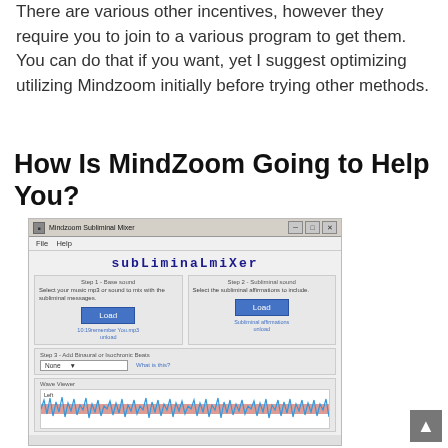There are various other incentives, however they require you to join to a various program to get them. You can do that if you want, yet I suggest optimizing utilizing Mindzoom initially before trying other methods.
How Is MindZoom Going to Help You?
[Figure (screenshot): Screenshot of the Mindzoom Subliminal Mixer application window showing two panels (Step 1 - Base sound and Step 2 - Subliminal sound), each with Load buttons, Step 3 for adding Binaural or Isochronic Beats with a None dropdown, and a Wave Viewer panel showing a waveform labeled Left.]